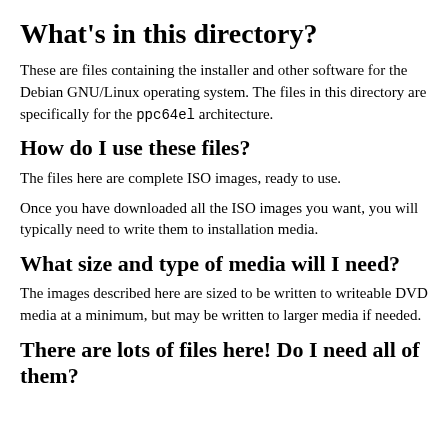What's in this directory?
These are files containing the installer and other software for the Debian GNU/Linux operating system. The files in this directory are specifically for the ppc64el architecture.
How do I use these files?
The files here are complete ISO images, ready to use.
Once you have downloaded all the ISO images you want, you will typically need to write them to installation media.
What size and type of media will I need?
The images described here are sized to be written to writeable DVD media at a minimum, but may be written to larger media if needed.
There are lots of files here! Do I need all of them?